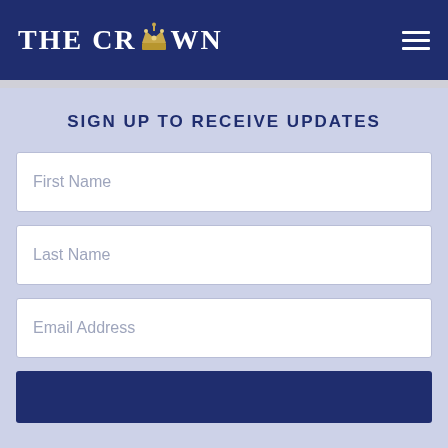THE CROWN
SIGN UP TO RECEIVE UPDATES
First Name
Last Name
Email Address